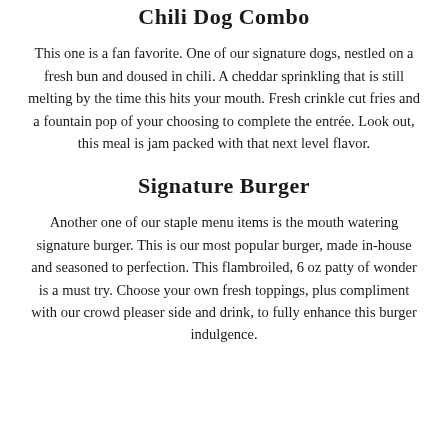Chili Dog Combo
This one is a fan favorite. One of our signature dogs, nestled on a fresh bun and doused in chili. A cheddar sprinkling that is still melting by the time this hits your mouth. Fresh crinkle cut fries and a fountain pop of your choosing to complete the entrée. Look out, this meal is jam packed with that next level flavor.
Signature Burger
Another one of our staple menu items is the mouth watering signature burger. This is our most popular burger, made in-house and seasoned to perfection. This flambroiled, 6 oz patty of wonder is a must try. Choose your own fresh toppings, plus compliment with our crowd pleaser side and drink, to fully enhance this burger indulgence.